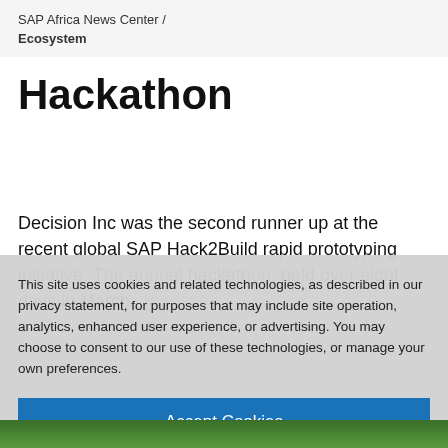SAP Africa News Center / Ecosystem
Hackathon
Decision Inc was the second runner up at the recent global SAP Hack2Build rapid prototyping initiative. The annual hackathon, held over eight days in March
This site uses cookies and related technologies, as described in our privacy statement, for purposes that may include site operation, analytics, enhanced user experience, or advertising. You may choose to consent to our use of these technologies, or manage your own preferences.
Accept Cookies
More Information
Privacy Policy | Powered by: TrustArc
[Figure (photo): Partial bottom strip showing green foliage/plants]